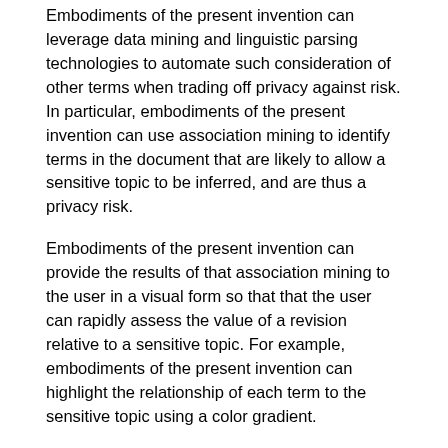Embodiments of the present invention can leverage data mining and linguistic parsing technologies to automate such consideration of other terms when trading off privacy against risk. In particular, embodiments of the present invention can use association mining to identify terms in the document that are likely to allow a sensitive topic to be inferred, and are thus a privacy risk.
Embodiments of the present invention can provide the results of that association mining to the user in a visual form so that that the user can rapidly assess the value of a revision relative to a sensitive topic. For example, embodiments of the present invention can highlight the relationship of each term to the sensitive topic using a color gradient.
Embodiments of the present invention can provide a game-like incentive to guide the user toward potential improvements in privacy while retaining as much information in the document as possible. For example, a scoring mechanism can discourage the user from broadly redacting terms to reduce privacy risk (and thus diminishing the utility of the document). The user can see a score, which increases with revisions that reduce the